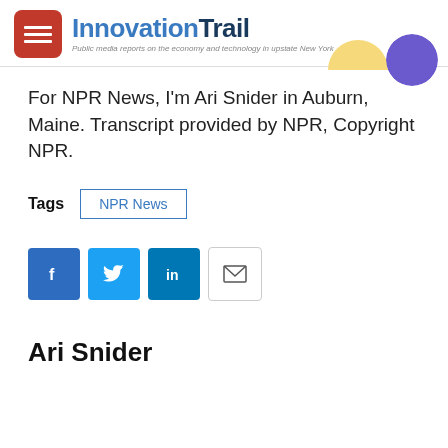[Figure (logo): InnovationTrail logo with red square hamburger menu icon, blue and dark blue text, and tagline 'Public media reports on the economy and technology in upstate New York']
For NPR News, I'm Ari Snider in Auburn, Maine. Transcript provided by NPR, Copyright NPR.
Tags   NPR News
[Figure (infographic): Social sharing buttons: Facebook (blue), Twitter (blue), LinkedIn (blue), Email (white/outlined)]
Ari Snider